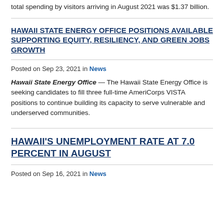total spending by visitors arriving in August 2021 was $1.37 billion.
HAWAII STATE ENERGY OFFICE POSITIONS AVAILABLE SUPPORTING EQUITY, RESILIENCY, AND GREEN JOBS GROWTH
Posted on Sep 23, 2021 in News
Hawaii State Energy Office — The Hawaii State Energy Office is seeking candidates to fill three full-time AmeriCorps VISTA positions to continue building its capacity to serve vulnerable and underserved communities.
HAWAII'S UNEMPLOYMENT RATE AT 7.0 PERCENT IN AUGUST
Posted on Sep 16, 2021 in News